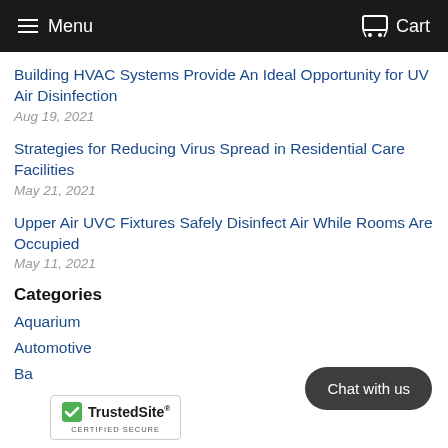Menu  Cart
Building HVAC Systems Provide An Ideal Opportunity for UV Air Disinfection
Aug 19, 2021
Strategies for Reducing Virus Spread in Residential Care Facilities
May 21, 2021
Upper Air UVC Fixtures Safely Disinfect Air While Rooms Are Occupied
May 11, 2021
Categories
Aquarium
Automotive
Ba...
[Figure (other): Chat with us button]
[Figure (logo): TrustedSite Certified Secure badge]